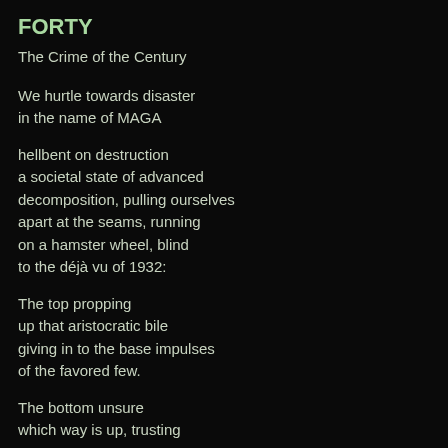FORTY
The Crime of the Century
We hurtle towards disaster
in the name of MAGA
hellbent on destruction
a societal state of advanced
decomposition, pulling ourselves
apart at the seams, running
on a hamster wheel, blind
to the déjà vu of 1932:
The top propping
up that aristocratic bile
giving in to the base impulses
of the favored few.
The bottom unsure
which way is up, trusting